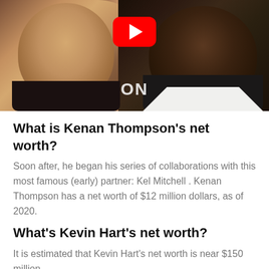[Figure (photo): Two people posing together for a photo with a YouTube play button overlay. A woman on the left with a bright smile and a man on the right in a dark suit with a white shirt. A CNN watermark is partially visible in the background.]
What is Kenan Thompson’s net worth?
Soon after, he began his series of collaborations with this most famous (early) partner: Kel Mitchell . Kenan Thompson has a net worth of $12 million dollars, as of 2020.
What’s Kevin Hart’s net worth?
It is estimated that Kevin Hart’s net worth is near $150 million .
Who really owns the Bronx Zoo?